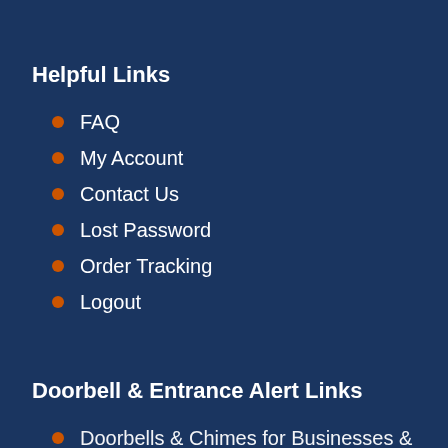Helpful Links
FAQ
My Account
Contact Us
Lost Password
Order Tracking
Logout
Doorbell & Entrance Alert Links
Doorbells & Chimes for Businesses &